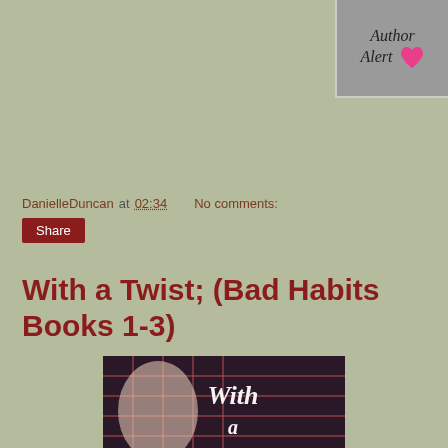[Figure (logo): Author Alert badge: gray circle/rectangle with cursive text 'Author Alert' and a pink heart icon]
DanielleDuncan at 02:34    No comments:
Share
With a Twist; (Bad Habits Books 1-3)
[Figure (photo): Book cover for 'With a Twist' showing plaid fabric with a hand resting on it and cursive white text reading 'With a Twist']